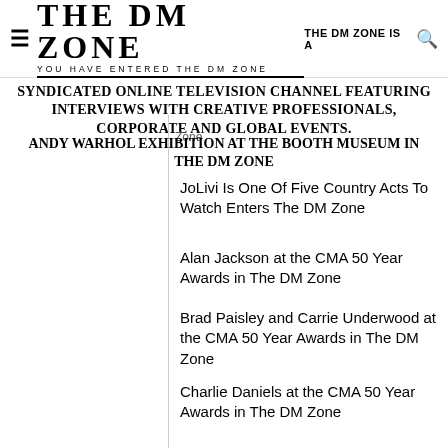THE DM ZONE — YOU HAVE ENTERED THE DM ZONE — THE DM ZONE IS A
SYNDICATED ONLINE TELEVISION CHANNEL FEATURING INTERVIEWS WITH CREATIVE PROFESSIONALS, CORPORATE AND GLOBAL EVENTS.
ANDY WARHOL EXHIBITION AT THE BOOTH MUSEUM IN THE DM ZONE
Zone
JoLivi Is One Of Five Country Acts To Watch Enters The DM Zone
Alan Jackson at the CMA 50 Year Awards in The DM Zone
Brad Paisley and Carrie Underwood at the CMA 50 Year Awards in The DM Zone
Charlie Daniels at the CMA 50 Year Awards in The DM Zone
Charley Pride at the CMA 50 Year Awards in The DM Zone